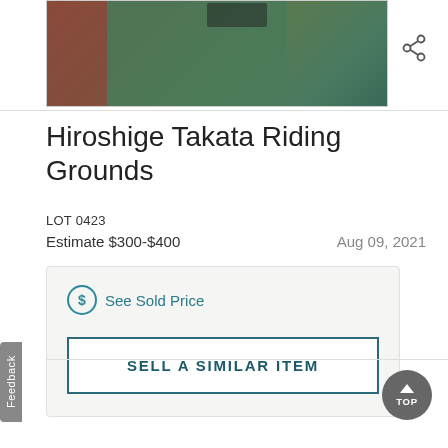[Figure (photo): Partial view of an artwork showing green and reddish tones, top portion of auction listing image]
Hiroshige Takata Riding Grounds
LOT 0423
Estimate $300-$400
Aug 09, 2021
See Sold Price
SELL A SIMILAR ITEM
Feedback
TOP